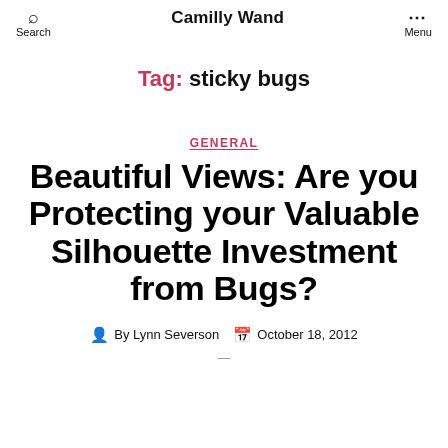Search | Camilly Wand | Menu
Tag: sticky bugs
GENERAL
Beautiful Views: Are you Protecting your Valuable Silhouette Investment from Bugs?
By Lynn Severson  October 18, 2012